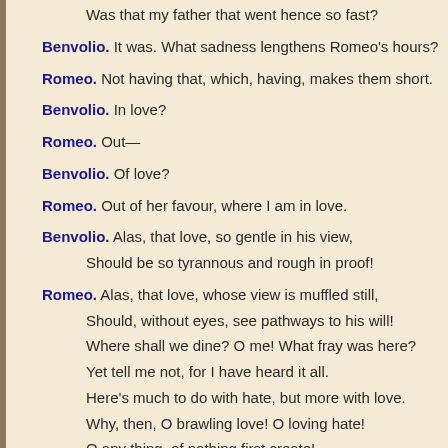Was that my father that went hence so fast?
Benvolio. It was. What sadness lengthens Romeo's hours?
Romeo. Not having that, which, having, makes them short.
Benvolio. In love?
Romeo. Out—
Benvolio. Of love?
Romeo. Out of her favour, where I am in love.
Benvolio. Alas, that love, so gentle in his view, Should be so tyrannous and rough in proof!
Romeo. Alas, that love, whose view is muffled still, Should, without eyes, see pathways to his will! Where shall we dine? O me! What fray was here? Yet tell me not, for I have heard it all. Here's much to do with hate, but more with love. Why, then, O brawling love! O loving hate! O any thing, of nothing first create! O heavy lightness! serious vanity! Mis-shapen chaos of well-seeming forms! Feather of lead, bright smoke, cold fire, sick health!